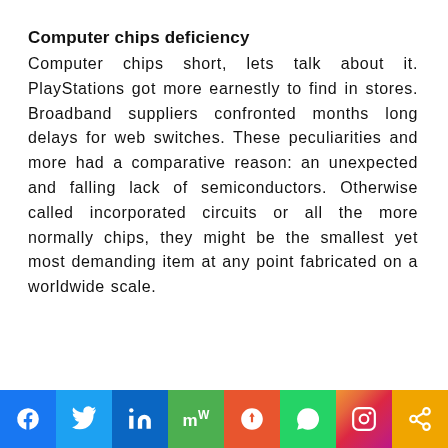Computer chips deficiency
Computer chips short, lets talk about it. PlayStations got more earnestly to find in stores. Broadband suppliers confronted months long delays for web switches. These peculiarities and more had a comparative reason: an unexpected and falling lack of semiconductors. Otherwise called incorporated circuits or all the more normally chips, they might be the smallest yet most demanding item at any point fabricated on a worldwide scale.
Social sharing bar: Facebook, Twitter, LinkedIn, MeWe, Mix, WhatsApp, Instagram, Share